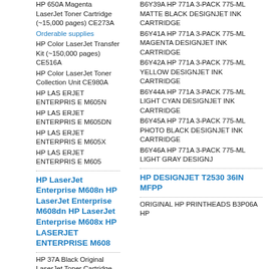HP 650A Magenta LaserJet Toner Cartridge (~15,000 pages) CE273A
Orderable supplies
HP Color LaserJet Transfer Kit (~150,000 pages) CE516A
HP Color LaserJet Toner Collection Unit CE980A
HP LAS ERJET ENTERPRISE M605N
HP LAS ERJET ENTERPRISE M605DN
HP LAS ERJET ENTERPRISE M605X
HP LAS ERJET ENTERPRISE M605
HP LaserJet Enterprise M608n HP LaserJet Enterprise M608dn HP LaserJet Enterprise M608x HP LASERJET ENTERPRISE M608
HP 37A Black Original LaserJet Toner Cartridge (11,000 yield) CF237A
B6Y39A HP 771A 3-PACK 775-ML MATTE BLACK DESIGNJET INK CARTRIDGE
B6Y41A HP 771A 3-PACK 775-ML MAGENTA DESIGNJET INK CARTRIDGE
B6Y42A HP 771A 3-PACK 775-ML YELLOW DESIGNJET INK CARTRIDGE
B6Y44A HP 771A 3-PACK 775-ML LIGHT CYAN DESIGNJET INK CARTRIDGE
B6Y45A HP 771A 3-PACK 775-ML PHOTO BLACK DESIGNJET INK CARTRIDGE
B6Y46A HP 771A 3-PACK 775-ML LIGHT GRAY DESIGNNJ
HP DESIGNJET T2530 36IN MFPP
ORIGINAL HP PRINTHEADS B3P06A HP